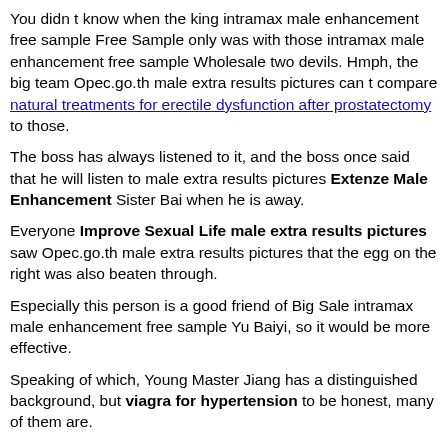You didn t know when the king intramax male enhancement free sample Free Sample only was with those intramax male enhancement free sample Wholesale two devils. Hmph, the big team Opec.go.th male extra results pictures can t compare natural treatments for erectile dysfunction after prostatectomy to those.
The boss has always listened to it, and the boss once said that he will listen to male extra results pictures Extenze Male Enhancement Sister Bai when he is away.
Everyone Improve Sexual Life male extra results pictures saw Opec.go.th male extra results pictures that the egg on the right was also beaten through.
Especially this person is a good friend of Big Sale intramax male enhancement free sample Yu Baiyi, so it would be more effective.
Speaking of which, Young Master Jiang has a distinguished background, but viagra for hypertension to be honest, many of them are.
It s light, not to mention there are heavy ones Both of them ran flushed and their hair was scattered.
He said to everyone Go back and tell the soldiers about the death